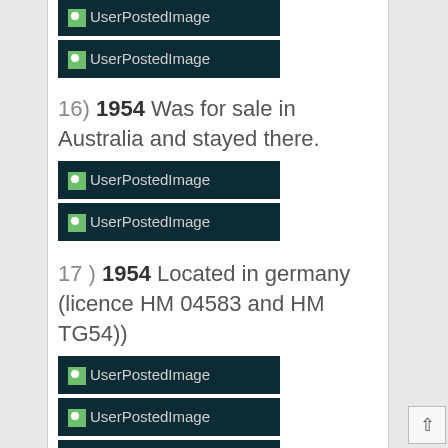[Figure (other): UserPostedImage placeholder thumbnail with dark teal background]
[Figure (other): UserPostedImage placeholder thumbnail with dark teal background]
16)  1954 Was for sale in Australia and stayed there.
[Figure (other): UserPostedImage placeholder thumbnail with dark teal background]
[Figure (other): UserPostedImage placeholder thumbnail with dark teal background]
17 )  1954 Located in germany (licence HM 04583 and HM TG54))
[Figure (other): UserPostedImage placeholder thumbnail with dark teal background]
[Figure (other): UserPostedImage placeholder thumbnail with dark teal background]
[Figure (other): UserPostedImage placeholder thumbnail with dark teal background]